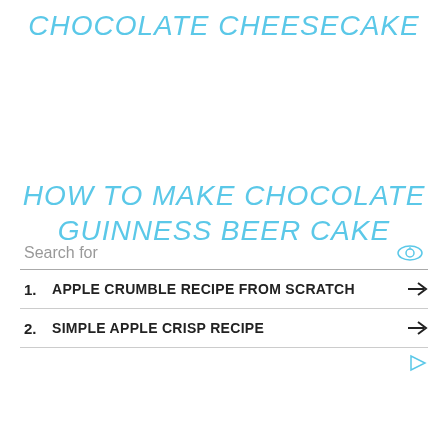CHOCOLATE CHEESECAKE
HOW TO MAKE CHOCOLATE GUINNESS BEER CAKE
Search for
1. APPLE CRUMBLE RECIPE FROM SCRATCH
2. SIMPLE APPLE CRISP RECIPE